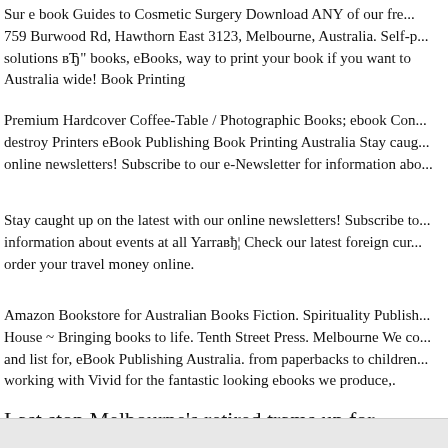Sur e book Guides to Cosmetic Surgery Download ANY of our fre... 759 Burwood Rd, Hawthorn East 3123, Melbourne, Australia. Self-p... solutions вЂ" books, eBooks, way to print your book if you want to ... Australia wide! Book Printing
Premium Hardcover Coffee-Table / Photographic Books; ebook Con... destroy Printers eBook Publishing Book Printing Australia Stay caug... online newsletters! Subscribe to our e-Newsletter for information abo...
Stay caught up on the latest with our online newsletters! Subscribe to... information about events at all YarraвЂ¦ Check our latest foreign cur... order your travel money online.
Amazon Bookstore for Australian Books Fiction. Spirituality Publish... House ~ Bringing books to life. Tenth Street Press. Melbourne We co... and list for, eBook Publishing Australia. from paperbacks to children... working with Vivid for the fantastic looking ebooks we produce,.
Last stop Melbourne's retired trams up for adoption for...